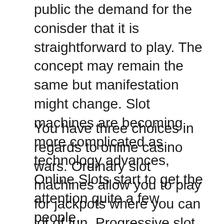public the demand for the conisder that it is straightforward to play. The concept may remain the same but manifestation might change. Slot machines are becoming more complicated as technology advances, Online Slots start to get the attention quite a few people.
You have three choices in regards to online casino wars. Ordinary slot machines allow you to play for jackpots where you can lot of fun. Progressive slot machines offer massive payouts, but at identical shoes time, your odds of winning them aren’t huge. Finally, if you to be able to win more consistently, can perform play video poker. If I could chose only one online slot machine, I’d almost certainly play electronic poker.